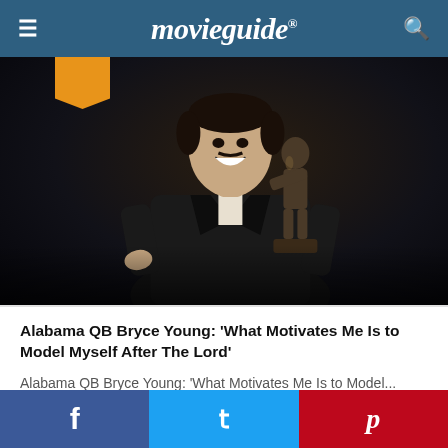movieguide®
[Figure (photo): Young man smiling and holding a Heisman Trophy, wearing a dark suit. An orange bookmark ribbon is visible in the upper left. The background is dark.]
Alabama QB Bryce Young: 'What Motivates Me Is to Model Myself After The Lord'
Alabama QB Bryce Young: 'What Motivates Me Is to Model...
f  t  p